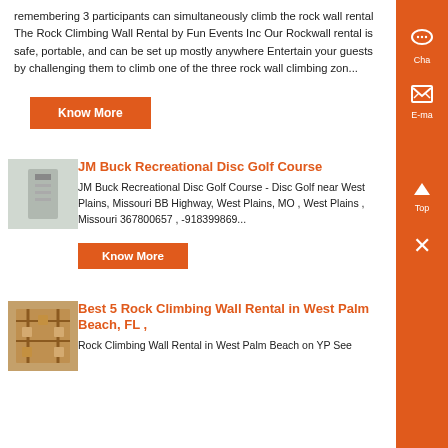remembering 3 participants can simultaneously climb the rock wall rental The Rock Climbing Wall Rental by Fun Events Inc Our Rockwall rental is safe, portable, and can be set up mostly anywhere Entertain your guests by challenging them to climb one of the three rock wall climbing zon...
Know More
[Figure (photo): Thumbnail photo of a disc golf course sign or structure]
JM Buck Recreational Disc Golf Course
JM Buck Recreational Disc Golf Course - Disc Golf near West Plains, Missouri BB Highway, West Plains, MO , West Plains , Missouri 367800657 , -918399869...
Know More
[Figure (photo): Thumbnail photo of a rock climbing wall rental structure indoors]
Best 5 Rock Climbing Wall Rental in West Palm Beach, FL ,
Rock Climbing Wall Rental in West Palm Beach on YP See